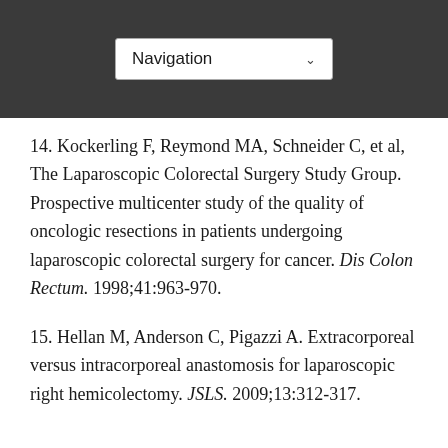Navigation
14. Kockerling F, Reymond MA, Schneider C, et al, The Laparoscopic Colorectal Surgery Study Group. Prospective multicenter study of the quality of oncologic resections in patients undergoing laparoscopic colorectal surgery for cancer. Dis Colon Rectum. 1998;41:963-970.
15. Hellan M, Anderson C, Pigazzi A. Extracorporeal versus intracorporeal anastomosis for laparoscopic right hemicolectomy. JSLS. 2009;13:312-317.